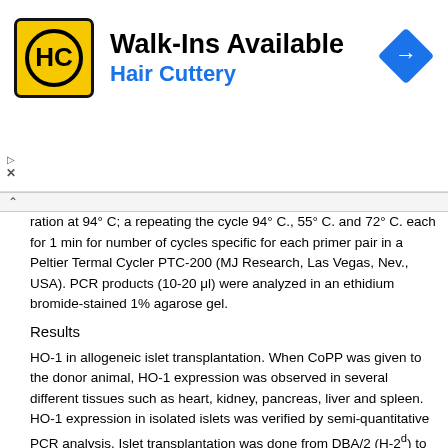[Figure (advertisement): Hair Cuttery advertisement banner with yellow HC logo, 'Walk-Ins Available' heading, blue 'Hair Cuttery' subtitle, and blue diamond direction sign icon on the right]
ration at 94° C; a repeating the cycle 94° C., 55° C. and 72° C. each for 1 min for number of cycles specific for each primer pair in a Peltier Termal Cycler PTC-200 (MJ Research, Las Vegas, Nev., USA). PCR products (10-20 μl) were analyzed in an ethidium bromide-stained 1% agarose gel.
Results
HO-1 in allogeneic islet transplantation. When CoPP was given to the donor animal, HO-1 expression was observed in several different tissues such as heart, kidney, pancreas, liver and spleen. HO-1 expression in isolated islets was verified by semi-quantitative PCR analysis. Islet transplantation was done from DBA/2 (H-2d) to B6AF1 (H-2b/a) mice. Subsequently, HO-1 was induced with CoPP for allogeneic transplantation. HO-1 was induced in the donor from one day before taking the islets and in the recipient on days −1, 1, 3, 5 and 7 with regard to transplantation. This protocol led to prolongation of survival in general but also to some islets surviving long-term (longer than 100 days) despite the absence of any treatment after day 7 after transplantation. In addition, inducing HO-1 only in the donor without